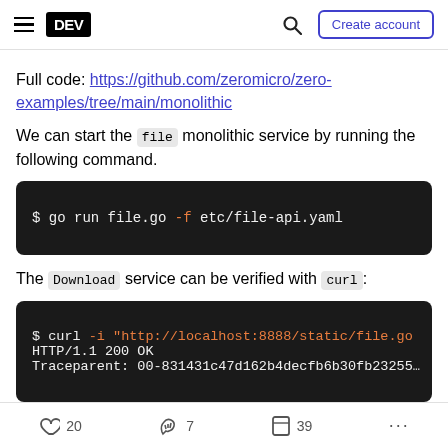DEV | Create account
Full code: https://github.com/zeromicro/zero-examples/tree/main/monolithic
We can start the file monolithic service by running the following command.
$ go run file.go -f etc/file-api.yaml
The Download service can be verified with curl:
$ curl -i "http://localhost:8888/static/file.go"
HTTP/1.1 200 OK
Traceparent: 00-831431c47d162b4decfb6b30fb23255
20 | 7 | 39 | ...